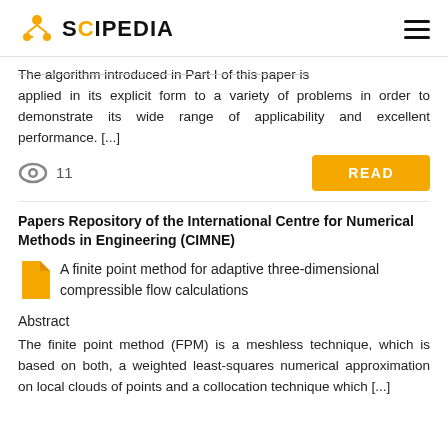SCIPEDIA
The algorithm introduced in Part I of this paper is applied in its explicit form to a variety of problems in order to demonstrate its wide range of applicability and excellent performance. [...]
11
READ
Papers Repository of the International Centre for Numerical Methods in Engineering (CIMNE)
A finite point method for adaptive three-dimensional compressible flow calculations
Abstract
The finite point method (FPM) is a meshless technique, which is based on both, a weighted least-squares numerical approximation on local clouds of points and a collocation technique which [...]